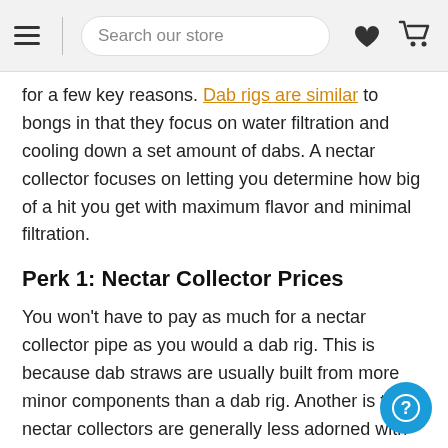Search our store
for a few key reasons. Dab rigs are similar to bongs in that they focus on water filtration and cooling down a set amount of dabs. A nectar collector focuses on letting you determine how big of a hit you get with maximum flavor and minimal filtration.
Perk 1: Nectar Collector Prices
You won't have to pay as much for a nectar collector pipe as you would a dab rig. This is because dab straws are usually built from more minor components than a dab rig. Another is that nectar collectors are generally less adorned with detail and colo techniques the way high-end rigs and bongs can me. A simple nectar collector makes dabbing easy and inexpensive.
Perk 2: Convenience